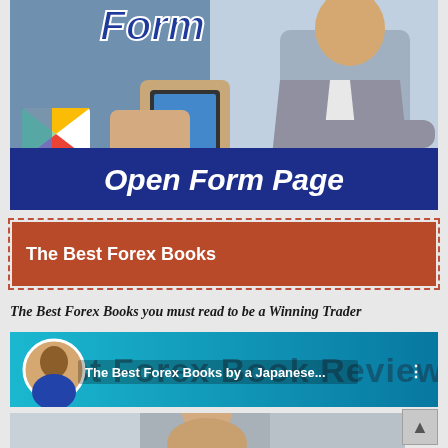[Figure (illustration): Banner image showing hands using a smartphone/tablet with Gmail icon on left, person in grey suit with arms crossed on right. Blue bar at bottom reads 'Open Form Page' in white italic bold text. Partial text at top reads 'Form' in italic blue.]
The Best Forex Books
The Best Forex Books you must read to be a Winning Trader
[Figure (screenshot): Video thumbnail with teal background showing circular avatar of person on left, overlaid text reading 'The Best Forex Books by a Japanese...' with large partially visible text 'Best Forex Book Review' behind it.]
[Figure (photo): Bottom partial thumbnail showing person with monitor/computer setup, partially visible.]